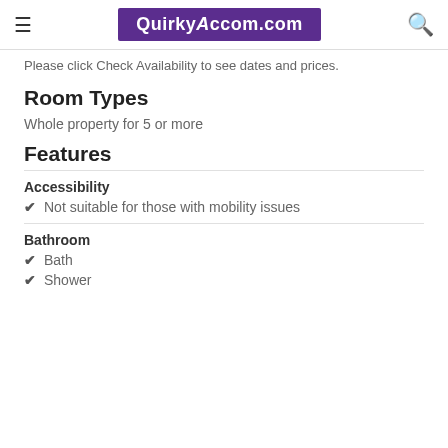QuirkyAccom.com
Please click Check Availability to see dates and prices.
Room Types
Whole property for 5 or more
Features
Accessibility
Not suitable for those with mobility issues
Bathroom
Bath
Shower